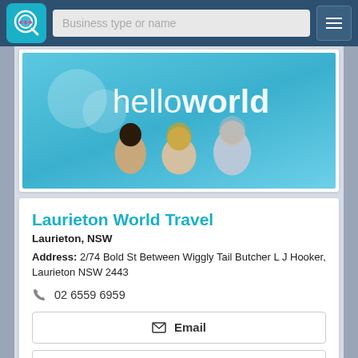Business type or name
[Figure (photo): Three people standing in front of a helloworld travel agency banner/backdrop. Two women and one man smiling at camera.]
Laurieton World Travel
Laurieton, NSW
Address: 2/74 Bold St Between Wiggly Tail Butcher L J Hooker, Laurieton NSW 2443
02 6559 6959
Email
Claim